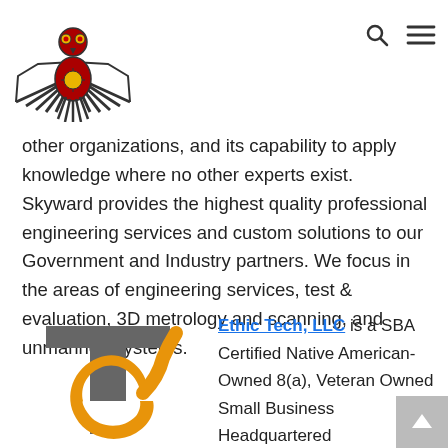[Figure (logo): Skyward company logo — stylized thunderbird with red and yellow, Native American style, with horizontal wings and sun symbol on chest]
[Figure (other): Navigation icons: search (magnifying glass) and hamburger menu]
other organizations, and its capability to apply knowledge where no other experts exist. Skyward provides the highest quality professional engineering services and custom solutions to our Government and Industry partners. We focus in the areas of engineering services, test & evaluation, 3D metrology and scanning, and unmanned systems.
[Figure (logo): Ethic Tech LLC logo — grey letter T with orange stylized letter e overlapping]
Ethic Tech, LLC is a SBA Certified Native American-Owned 8(a), Veteran Owned Small Business Headquartered